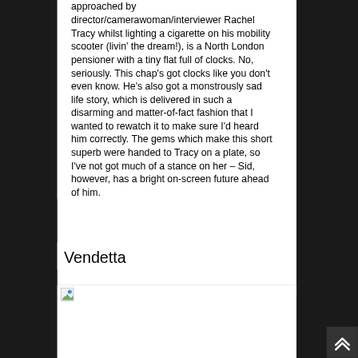approached by director/camerawoman/interviewer Rachel Tracy whilst lighting a cigarette on his mobility scooter (livin' the dream!), is a North London pensioner with a tiny flat full of clocks. No, seriously. This chap's got clocks like you don't even know. He's also got a monstrously sad life story, which is delivered in such a disarming and matter-of-fact fashion that I wanted to rewatch it to make sure I'd heard him correctly. The gems which make this short superb were handed to Tracy on a plate, so I've not got much of a stance on her – Sid, however, has a bright on-screen future ahead of him.
Vendetta
[Figure (photo): Partially visible image with broken/placeholder icon at top left]